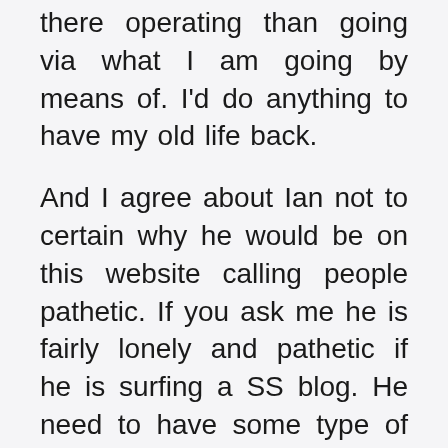there operating than going via what I am going by means of. I'd do anything to have my old life back.

And I agree about Ian not to certain why he would be on this website calling people pathetic. If you ask me he is fairly lonely and pathetic if he is surfing a SS blog. He need to have some type of motive. That would be like me going on a blog on how to fight Aliens lol. To each his personal but still a tiny strange he would have an